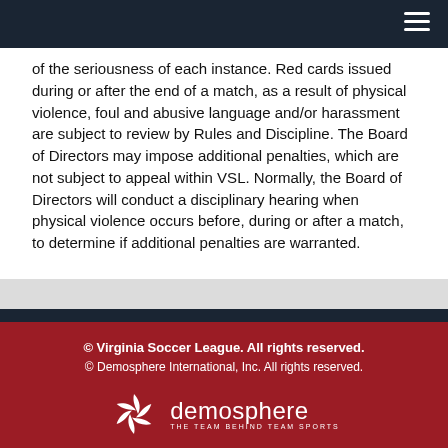of the seriousness of each instance. Red cards issued during or after the end of a match, as a result of physical violence, foul and abusive language and/or harassment are subject to review by Rules and Discipline. The Board of Directors may impose additional penalties, which are not subject to appeal within VSL. Normally, the Board of Directors will conduct a disciplinary hearing when physical violence occurs before, during or after a match, to determine if additional penalties are warranted.
© Virginia Soccer League. All rights reserved.
© Demosphere International, Inc. All rights reserved.
[Figure (logo): Demosphere logo with swirl icon and tagline 'THE TEAM BEHIND TEAM SPORTS']